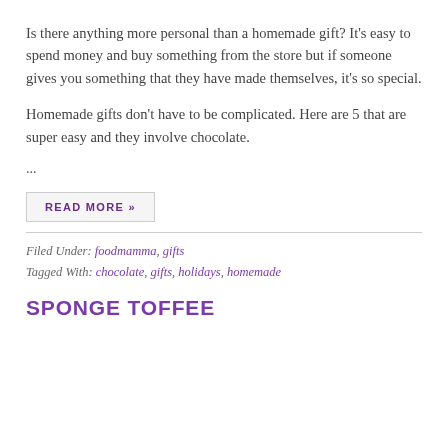Is there anything more personal than a homemade gift? It's easy to spend money and buy something from the store but if someone gives you something that they have made themselves, it's so special.
Homemade gifts don't have to be complicated. Here are 5 that are super easy and they involve chocolate.
...
READ MORE »
Filed Under: foodmamma, gifts
Tagged With: chocolate, gifts, holidays, homemade
SPONGE TOFFEE